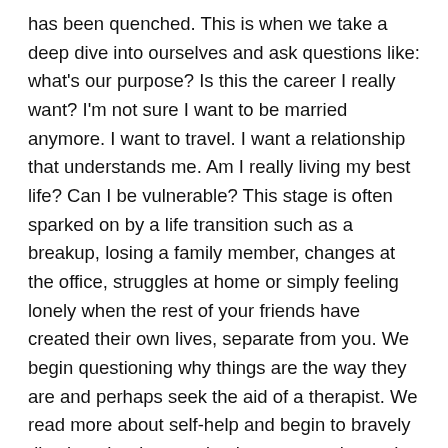has been quenched. This is when we take a deep dive into ourselves and ask questions like: what's our purpose? Is this the career I really want? I'm not sure I want to be married anymore. I want to travel. I want a relationship that understands me. Am I really living my best life? Can I be vulnerable? This stage is often sparked on by a life transition such as a breakup, losing a family member, changes at the office, struggles at home or simply feeling lonely when the rest of your friends have created their own lives, separate from you. We begin questioning why things are the way they are and perhaps seek the aid of a therapist. We read more about self-help and begin to bravely dive into the deep end to learn more about what makes ourselves tick.
Stage 3: Anne believes it's a stage of Understanding. I agreed and added to that. I like to use the word